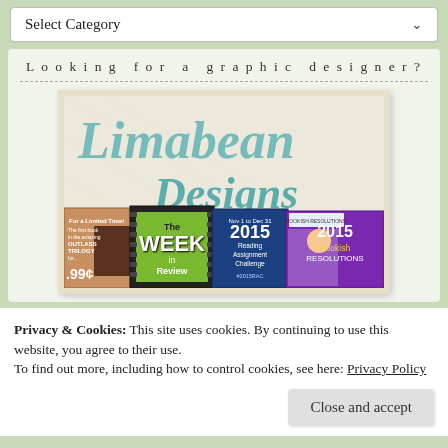Select Category
Looking for a graphic designer?
[Figure (illustration): Limabean Designs advertisement banner showing the brand name in teal script lettering over a textured background, with book cover images at the bottom including a '.99¢' promotional book, 'The Week in Review', '2015 Reading Assignment Challenge', and '2015 Bookish Resolutions']
Privacy & Cookies: This site uses cookies. By continuing to use this website, you agree to their use.
To find out more, including how to control cookies, see here: Privacy Policy
Close and accept